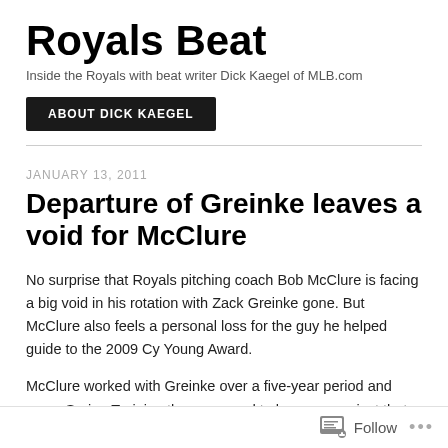Royals Beat
Inside the Royals with beat writer Dick Kaegel of MLB.com
ABOUT DICK KAEGEL
JANUARY 13, 2011
Departure of Greinke leaves a void for McClure
No surprise that Royals pitching coach Bob McClure is facing a big void in his rotation with Zack Greinke gone. But McClure also feels a personal loss for the guy he helped guide to the 2009 Cy Young Award.
McClure worked with Greinke over a five-year period and every Spring Training there seemed to be some project that the two men worked on. The spring before the Cy Young, for example, refining a changeup was the
Follow